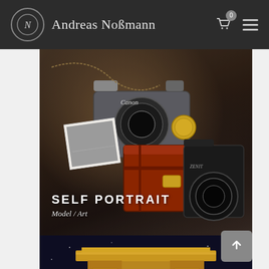Andreas Noßmann
[Figure (photo): Vintage cameras (Canon and Zenit) with a red wooden box, a black-and-white photograph print, and a gold coin/watch on a dark wooden surface. Text overlay reads SELF PORTRAIT / Model / Art]
SELF PORTRAIT
Model / Art
[Figure (photo): Arc de Triomphe illuminated at night against a dark blue sky, viewed from below looking up at the ornate stone arch]